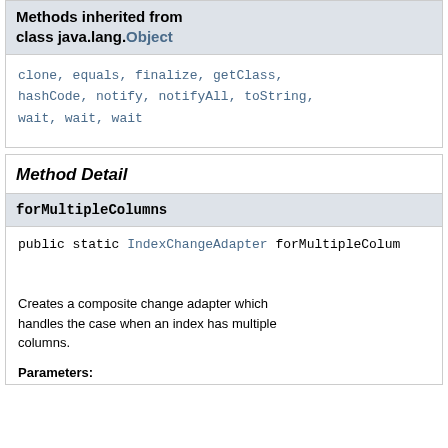Methods inherited from class java.lang.Object
clone, equals, finalize, getClass, hashCode, notify, notifyAll, toString, wait, wait, wait
Method Detail
forMultipleColumns
public static IndexChangeAdapter forMultipleColum
Creates a composite change adapter which handles the case when an index has multiple columns.
Parameters: